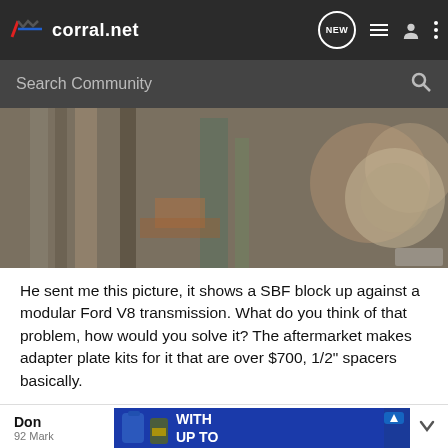corral.net — navigation bar with NEW, list, user, and menu icons
Search Community
[Figure (photo): Close-up photo of what appears to be metal automotive parts — flywheel or bellhousing components stacked together, showing worn and rusted surfaces.]
He sent me this picture, it shows a SBF block up against a modular Ford V8 transmission. What do you think of that problem, how would you solve it? The aftermarket makes adapter plate kits for it that are over $700, 1/2" spacers basically.
Don
92 Mark